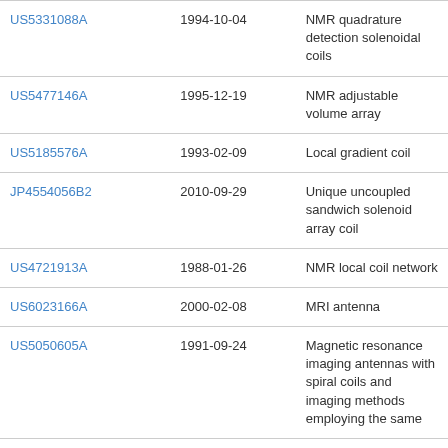| US5331088A | 1994-10-04 | NMR quadrature detection solenoidal coils |
| US5477146A | 1995-12-19 | NMR adjustable volume array |
| US5185576A | 1993-02-09 | Local gradient coil |
| JP4554056B2 | 2010-09-29 | Unique uncoupled sandwich solenoid array coil |
| US4721913A | 1988-01-26 | NMR local coil network |
| US6023166A | 2000-02-08 | MRI antenna |
| US5050605A | 1991-09-24 | Magnetic resonance imaging antennas with spiral coils and imaging methods employing the same |
| US5898306A | 1999-04-27 | Single circuit ladder resonator quadrature surface RF coil |